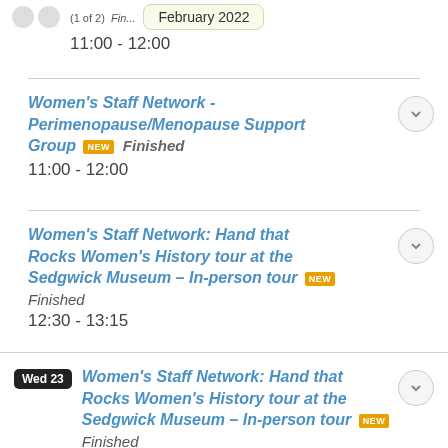(1 of 2) ... February 2022
11:00 - 12:00
Women's Staff Network - Perimenopause/Menopause Support Group [NEW] Finished
11:00 - 12:00
Women's Staff Network: Hand that Rocks Women's History tour at the Sedgwick Museum – In-person tour [NEW] Finished
12:30 - 13:15
Wed 23 Women's Staff Network: Hand that Rocks Women's History tour at the Sedgwick Museum – In-person tour [NEW] Finished
12:30 - 13:15